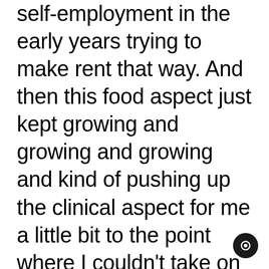self-employment in the early years trying to make rent that way. And then this food aspect just kept growing and growing and growing and kind of pushing up the clinical aspect for me a little bit to the point where I couldn't take on any more food work. And it was a good friend of mine who sort of partnered with me in